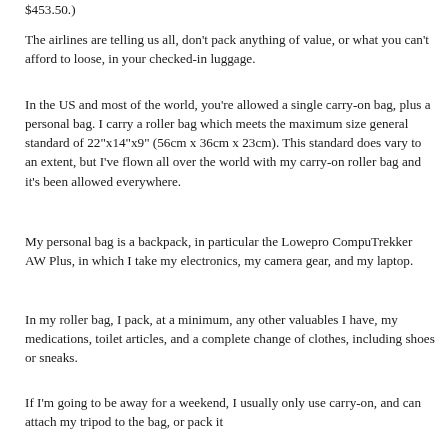$453.50.)
The airlines are telling us all, don't pack anything of value, or what you can't afford to loose, in your checked-in luggage.
In the US and most of the world, you're allowed a single carry-on bag, plus a personal bag. I carry a roller bag which meets the maximum size general standard of 22"x14"x9" (56cm x 36cm x 23cm). This standard does vary to an extent, but I've flown all over the world with my carry-on roller bag and it's been allowed everywhere.
My personal bag is a backpack, in particular the Lowepro CompuTrekker AW Plus, in which I take my electronics, my camera gear, and my laptop.
In my roller bag, I pack, at a minimum, any other valuables I have, my medications, toilet articles, and a complete change of clothes, including shoes or sneaks.
If I'm going to be away for a weekend, I usually only use carry-on, and can attach my tripod to the bag, or pack it inside it, though attached to the outside of the bag, full…